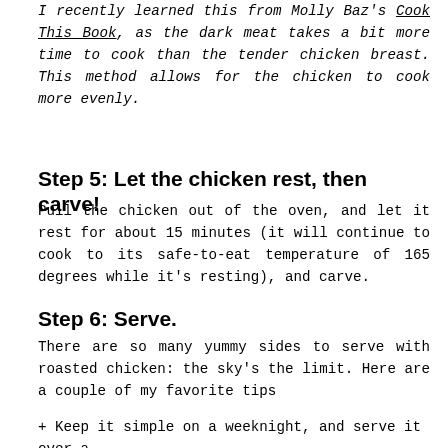I recently learned this from Molly Baz's Cook This Book, as the dark meat takes a bit more time to cook than the tender chicken breast. This method allows for the chicken to cook more evenly.
Step 5: Let the chicken rest, then carve!
Pull the chicken out of the oven, and let it rest for about 15 minutes (it will continue to cook to its safe-to-eat temperature of 165 degrees while it's resting), and carve.
Step 6: Serve.
There are so many yummy sides to serve with roasted chicken: the sky's the limit. Here are a couple of my favorite tips
+ Keep it simple on a weeknight, and serve it over a